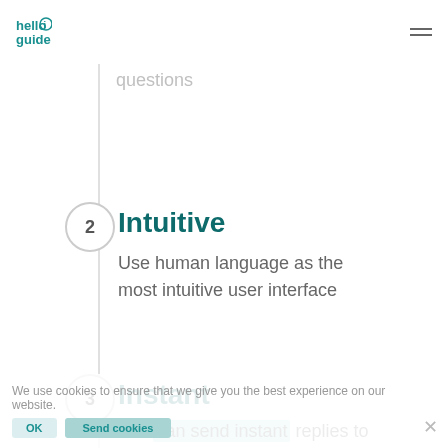hello guide
You can build authentic dialogues based on individual questions
2 Intuitive
Use human language as the most intuitive user interface
3 Instant
You can send instant replies to your mobile community